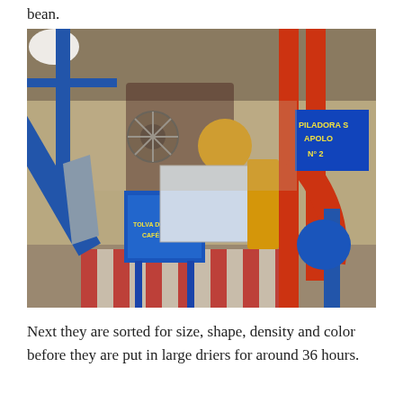bean.
[Figure (photo): Interior of a coffee processing facility showing blue and red metal machinery, conveyors, pipes, and a blue hopper labeled 'TOLVA DE RESERVA CAFE ORO' in the foreground, and a sign reading 'PILADORA S APOLO N°2' on the right side.]
Next they are sorted for size, shape, density and color before they are put in large driers for around 36 hours.